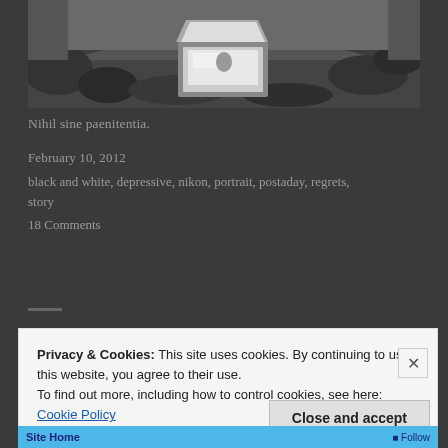[Figure (photo): Black and white photograph showing an open briefcase or box lying on the ground surrounded by vegetation and grass]
Nihil sine paenitentia.
February 10, 2012
black and white, depressive, nikon, portrait, postaday, regrets, story
18 Comments
Privacy & Cookies: This site uses cookies. By continuing to use this website, you agree to their use.
To find out more, including how to control cookies, see here: Cookie Policy
Close and accept